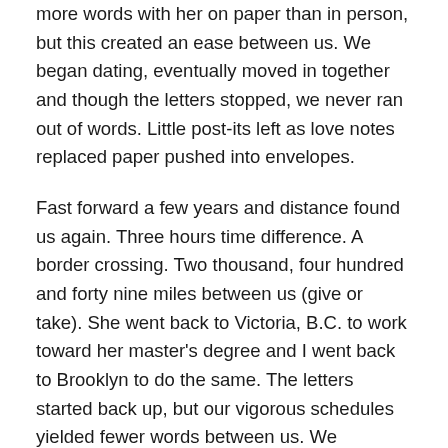more words with her on paper than in person, but this created an ease between us. We began dating, eventually moved in together and though the letters stopped, we never ran out of words. Little post-its left as love notes replaced paper pushed into envelopes.
Fast forward a few years and distance found us again. Three hours time difference. A border crossing. Two thousand, four hundred and forty nine miles between us (give or take). She went back to Victoria, B.C. to work toward her master's degree and I went back to Brooklyn to do the same. The letters started back up, but our vigorous schedules yielded fewer words between us. We introduced other modes of communication such as Skype, though poor Internet connections often led to frustrations or fights. After about seven months, we broke up. I still sent her the occasional letter, but then that fluttered away. I realized I